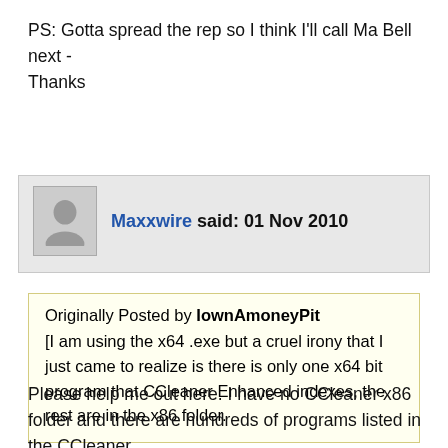PS: Gotta spread the rep so I think I'll call Ma Bell next - Thanks
Maxxwire said: 01 Nov 2010
Originally Posted by IownAmoneyPit
[I am using the x64 .exe but a cruel irony that I just came to realize is there is only one x64 bit program that CCleaner Enhanced indexes, the rest are in the x86 folder.
Please help me out here. I have no CCleaner x86 folder and there are hundreds of programs listed in the CCleaner